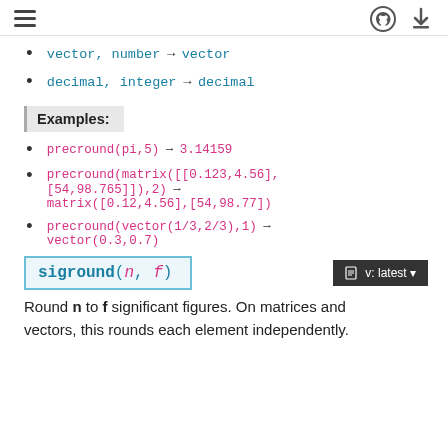navigation header with hamburger menu and github/download icons
vector, number → vector
decimal, integer → decimal
Examples:
precround(pi,5) → 3.14159
precround(matrix([[0.123,4.56],[54,98.765]]),2) → matrix([0.12,4.56],[54,98.77])
precround(vector(1/3,2/3),1) → vector(0.3,0.7)
siground(n, f)
Round n to f significant figures. On matrices and vectors, this rounds each element independently.